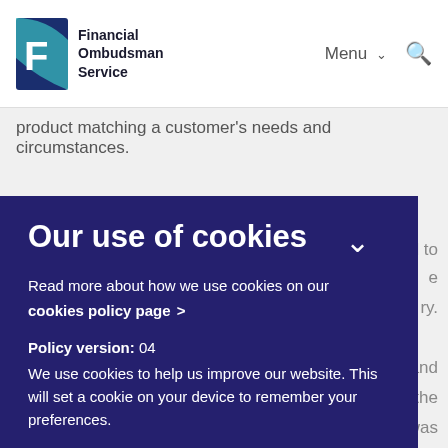[Figure (logo): Financial Ombudsman Service logo with stylized blue/teal 'F' icon and organization name]
product matching a customer's needs and circumstances.
Our use of cookies
Read more about how we use cookies on our cookies policy page >
Policy version: 04
We use cookies to help us improve our website. This will set a cookie on your device to remember your preferences.
No, take me to settings >
Accept and close >